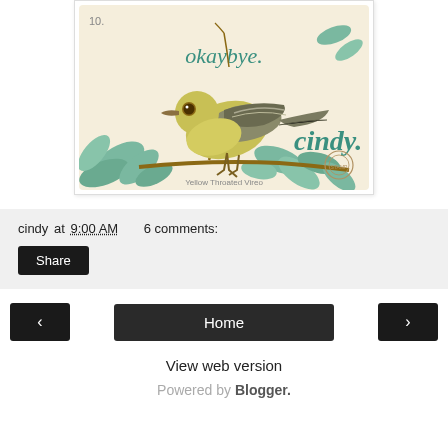[Figure (illustration): Vintage illustration of a yellow-olive bird (Yellow Throated Vireo) perched on a branch with teal/blue-green leaves. Text 'okaybye.' and 'cindy.' written in teal cursive script over the image. Number '10' in top left corner. Small circular stamp/seal in bottom right.]
cindy at 9:00 AM    6 comments:
Share
< Home >
View web version
Powered by Blogger.